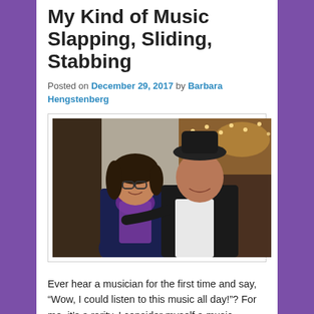My Kind of Music Slapping, Sliding, Stabbing
Posted on December 29, 2017 by Barbara Hengstenberg
[Figure (photo): Two people posing for a photo indoors. On the left is a woman with dark hair and glasses wearing a dark blue polka-dot top and a purple scarf. On the right is a taller man wearing a black hat, black jacket, and white shirt. The background shows a warmly lit venue with string lights.]
Ever hear a musician for the first time and say, “Wow, I could listen to this music all day!”? For me, it’s a rarity. I consider myself a music snob…I know what I like, and the that’ll make me go back and relive the live...